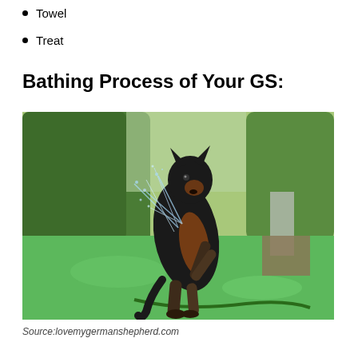Towel
Treat
Bathing Process of Your GS:
[Figure (photo): A German Shepherd dog standing on its hind legs playing with a water sprinkler on a green lawn, with trees in the background.]
Source:lovemygermanshepherd.com